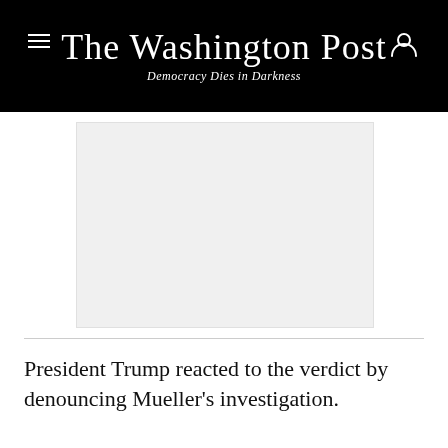The Washington Post — Democracy Dies in Darkness
[Figure (photo): A gray placeholder image rectangle representing an embedded photo or video thumbnail from the article.]
President Trump reacted to the verdict by denouncing Mueller's investigation.